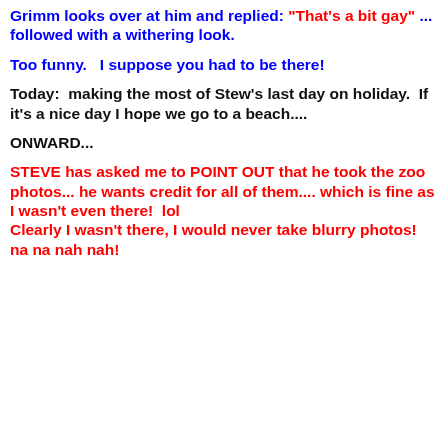Grimm looks over at him and replied:  "That's a bit gay" ... followed with a withering look.
Too funny.   I suppose you had to be there!
Today:  making the most of Stew's last day on holiday.  If it's a nice day I hope we go to a beach....
ONWARD...
STEVE has asked me to POINT OUT that he took the zoo photos... he wants credit for all of them.... which is fine as I wasn't even there!  lol Clearly I wasn't there, I would never take blurry photos!  na na nah nah!